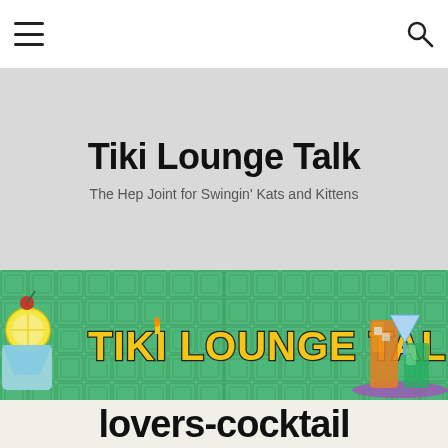☰  [menu]  |  [search]
Tiki Lounge Talk
The Hep Joint for Swingin' Kats and Kittens
[Figure (illustration): Colorful banner illustration with 'Tiki Lounge Talk' text in yellow retro font on a green tiled background, with cocktail drinks on the left and right sides]
lovers-cocktail